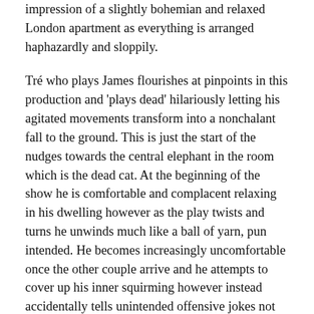impression of a slightly bohemian and relaxed London apartment as everything is arranged haphazardly and sloppily.
Tré who plays James flourishes at pinpoints in this production and 'plays dead' hilariously letting his agitated movements transform into a nonchalant fall to the ground. This is just the start of the nudges towards the central elephant in the room which is the dead cat. At the beginning of the show he is comfortable and complacent relaxing in his dwelling however as the play twists and turns he unwinds much like a ball of yarn, pun intended. He becomes increasingly uncomfortable once the other couple arrive and he attempts to cover up his inner squirming however instead accidentally tells unintended offensive jokes not well received by Aaron who worships his cat Mittens. He feeds his guests carrots out of a tin, giggles nervously and as the pressure of